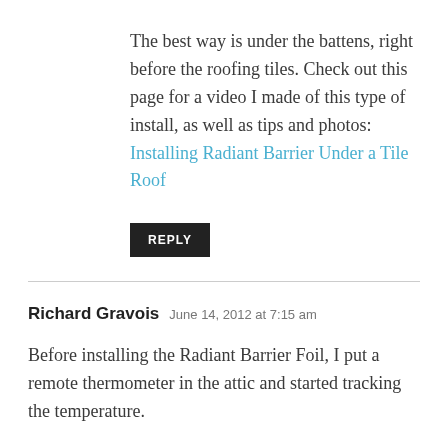The best way is under the battens, right before the roofing tiles. Check out this page for a video I made of this type of install, as well as tips and photos: Installing Radiant Barrier Under a Tile Roof
REPLY
Richard Gravois  June 14, 2012 at 7:15 am
Before installing the Radiant Barrier Foil, I put a remote thermometer in the attic and started tracking the temperature.